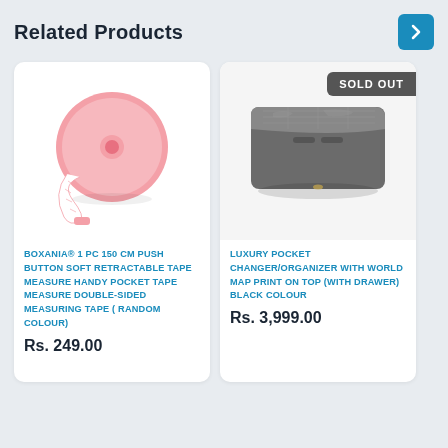Related Products
[Figure (photo): Pink retractable tape measure with white tape extended]
BOXANIA® 1 PC 150 CM PUSH BUTTON SOFT RETRACTABLE TAPE MEASURE HANDY POCKET TAPE MEASURE DOUBLE-SIDED MEASURING TAPE ( RANDOM COLOUR)
Rs. 249.00
[Figure (photo): Dark grey luxury pocket changer/organizer box with world map print on top, with a SOLD OUT badge]
LUXURY POCKET CHANGER/ORGANIZER WITH WORLD MAP PRINT ON TOP (WITH DRAWER) BLACK COLOUR
Rs. 3,999.00